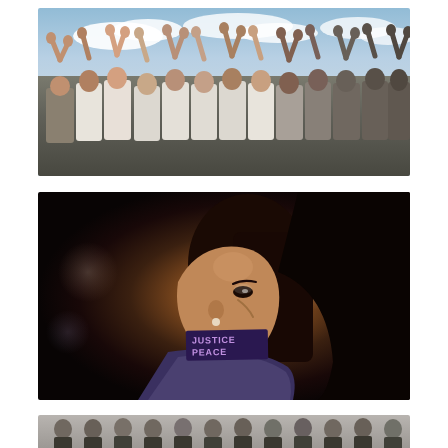[Figure (photo): Protest photo showing a large group of people with raised fists in the air, wearing white t-shirts, outdoors with a partly cloudy sky in the background.]
[Figure (photo): Close-up portrait of a young Black woman looking upward, with tape covering her mouth reading 'JUSTICE PEACE' in glowing letters, bokeh background with warm and cool light blurs.]
[Figure (photo): Partial view of a group of people standing together, appears to be a formal or organized group photo, visible at the bottom edge of the page.]